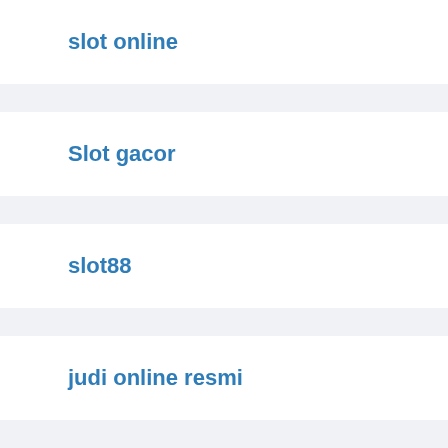slot online
Slot gacor
slot88
judi online resmi